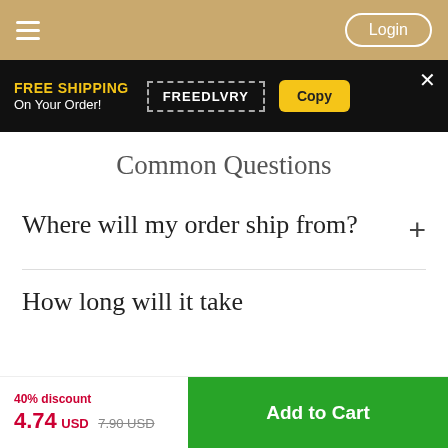Navigation bar with hamburger menu and Login button
[Figure (screenshot): Promotional banner: FREE SHIPPING On Your Order! with coupon code FREEDLVRY and Copy button]
Common Questions
Where will my order ship from?
How long will it take
40% discount 4.74 USD 7.90 USD  Add to Cart